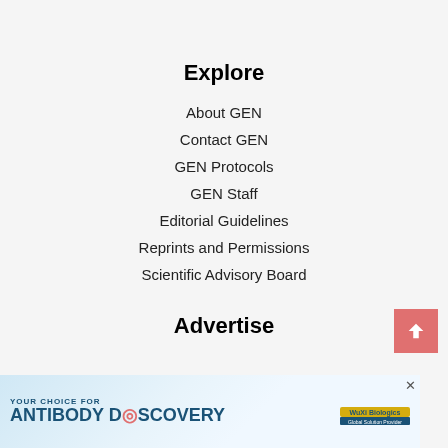Explore
About GEN
Contact GEN
GEN Protocols
GEN Staff
Editorial Guidelines
Reprints and Permissions
Scientific Advisory Board
Advertise
[Figure (illustration): WuXi Biologics advertisement banner: YOUR CHOICE FOR ANTIBODY DISCOVERY with antibody imagery and WuXi Biologics logo]